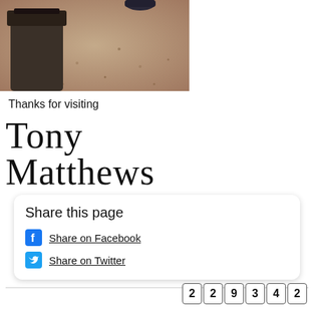[Figure (photo): Cropped photo showing the base of a decorative stone or metal sculpture/pedestal on a gravel or sand ground, with a shoe/foot visible at the top right.]
Thanks for visiting
[Figure (illustration): Cursive signature reading 'Tony Matthews']
Share this page
Share on Facebook
Share on Twitter
229342